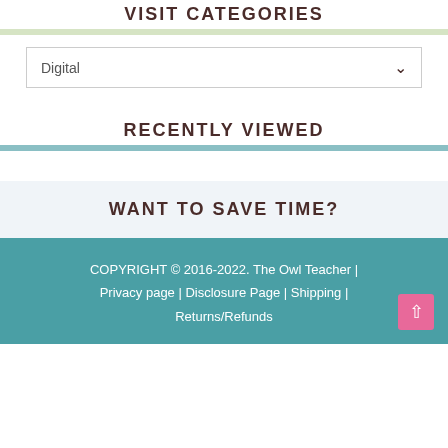VISIT CATEGORIES
Digital
RECENTLY VIEWED
WANT TO SAVE TIME?
COPYRIGHT © 2016-2022. The Owl Teacher | Privacy page | Disclosure Page | Shipping | Returns/Refunds